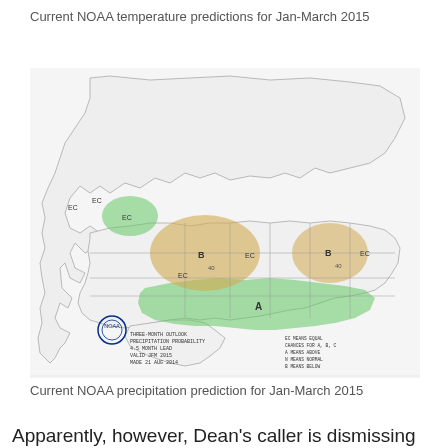Current NOAA temperature predictions for Jan-March 2015
[Figure (map): NOAA Three-Month Outlook Precipitation Probability map of North America showing regions labeled A (above normal, green), B (below normal, orange/tan), and EC (equal chances). Valid JFM 2015, made 21 Aug 2014. Green shading covers southern US and Pacific Northwest; orange shading covers central US and Great Lakes region.]
Current NOAA precipitation prediction for Jan-March 2015
Apparently, however, Dean's caller is dismissing